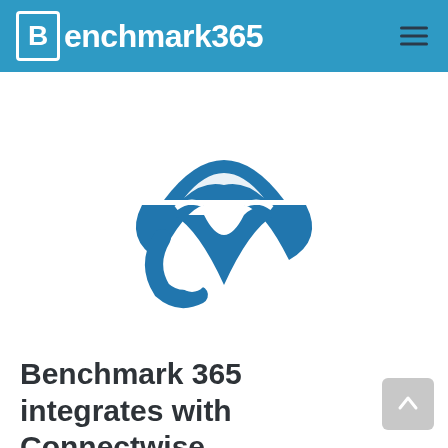Benchmark365
[Figure (logo): Benchmark 365 owl/checkmark logo in blue on white background]
Benchmark 365 integrates with Connectwise